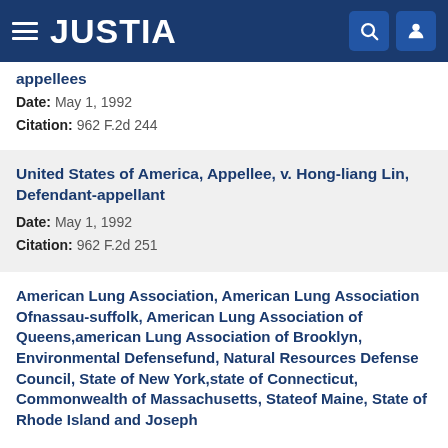JUSTIA
appellees
Date: May 1, 1992
Citation: 962 F.2d 244
United States of America, Appellee, v. Hong-liang Lin, Defendant-appellant
Date: May 1, 1992
Citation: 962 F.2d 251
American Lung Association, American Lung Association Ofnassau-suffolk, American Lung Association of Queens,american Lung Association of Brooklyn, Environmental Defensefund, Natural Resources Defense Council, State of New York,state of Connecticut, Commonwealth of Massachusetts, Stateof Maine, State of Rhode Island and Joseph